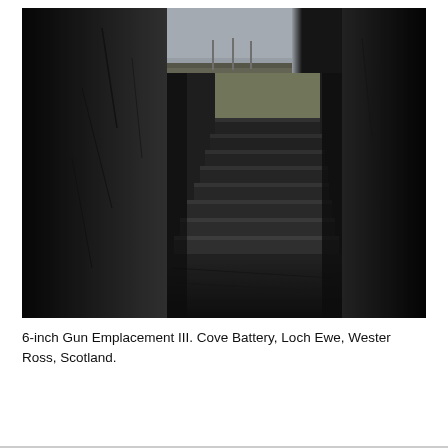[Figure (photo): Interior view of a concrete gun emplacement (6-inch Gun Emplacement III, Cove Battery, Loch Ewe, Wester Ross, Scotland). The photograph is taken from within a dark concrete passageway looking toward a set of worn concrete steps ascending toward an opening that reveals an overcast sky and landscape beyond. Heavy concrete walls flank both sides of the frame, the left wall occupying much of the foreground in deep shadow. The steps curve slightly to the right, leading up to daylight. The palette is almost entirely dark greys and blacks with a small bright opening at the top centre.]
6-inch Gun Emplacement III. Cove Battery, Loch Ewe, Wester Ross, Scotland.